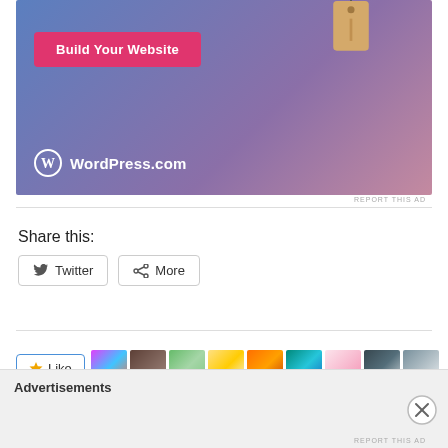[Figure (photo): WordPress.com advertisement banner with blue-purple gradient background, a 'Build Your Website' pink button, a hanging price tag illustration on the right, and WordPress.com logo at the bottom left]
REPORT THIS AD
Share this:
Twitter
More
[Figure (photo): Row of small thumbnail photos next to a Like button]
Advertisements
REPORT THIS AD